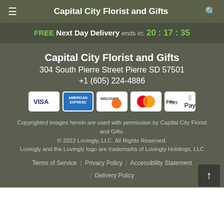Capital City Florist and Gifts
FREE Next Day Delivery ends in: 20 : 17 : 35
Capital City Florist and Gifts
304 South Pierre Street Pierre SD 57501
+1 (605) 224-4886
[Figure (logo): Payment icons: Visa, American Express, Discover, Mastercard, Apple Pay]
Copyrighted images herein are used with permission by Capital City Florist and Gifts.
© 2022 Lovingly, LLC. All Rights Reserved.
Lovingly and the Lovingly logo are trademarks of Lovingly Holdings, LLC
Terms of Service | Privacy Policy | Accessibility Statement | Delivery Policy